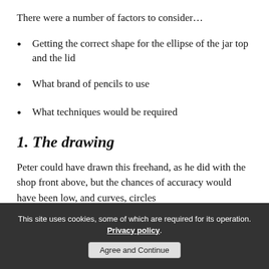There were a number of factors to consider…
Getting the correct shape for the ellipse of the jar top and the lid
What brand of pencils to use
What techniques would be required
1. The drawing
Peter could have drawn this freehand, as he did with the shop front above, but the chances of accuracy would have been low, and curves, circles
This site uses cookies, some of which are required for its operation. Privacy policy. Agree and Continue